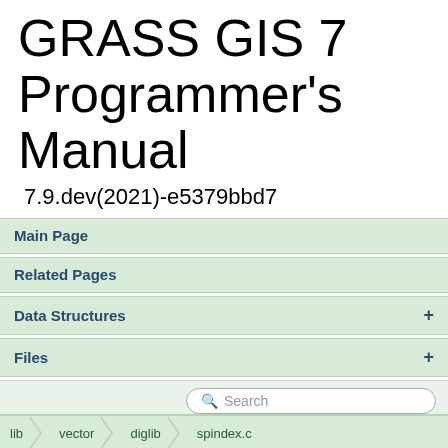GRASS GIS 7 Programmer's Manual
7.9.dev(2021)-e5379bbd7
Main Page
Related Pages
Data Structures +
Files +
spindex.c
Go to the documentation
lib  vector  diglib  spindex.c